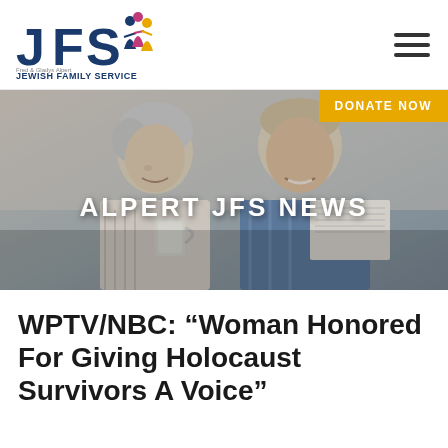JFS Jewish Family Service of Palm Beach County — DONATE NOW
[Figure (photo): Elderly couple smiling and reading together, woman holding a coffee cup]
ALPERT JFS NEWS
WPTV/NBC: “Woman Honored For Giving Holocaust Survivors A Voice”